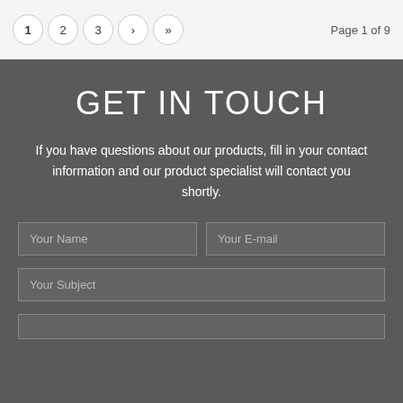Page 1 of 9
GET IN TOUCH
If you have questions about our products, fill in your contact information and our product specialist will contact you shortly.
Your Name | Your E-mail | Your Subject